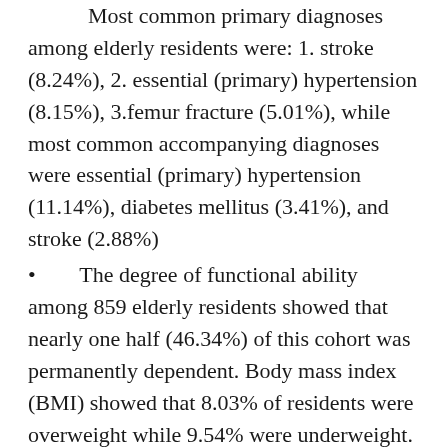Most common primary diagnoses among elderly residents were: 1. stroke (8.24%), 2. essential (primary) hypertension (8.15%), 3.femur fracture (5.01%), while most common accompanying diagnoses were essential (primary) hypertension (11.14%), diabetes mellitus (3.41%), and stroke (2.88%)
The degree of functional ability among 859 elderly residents showed that nearly one half (46.34%) of this cohort was permanently dependent. Body mass index (BMI) showed that 8.03% of residents were overweight while 9.54% were underweight. Referral Center of the Ministry of Health for Health Care of the Elderly performs a priority set of gerontoprophylactic measures based on the evaluation of the results obtained from gerontologic-public health analysis. The summary included...